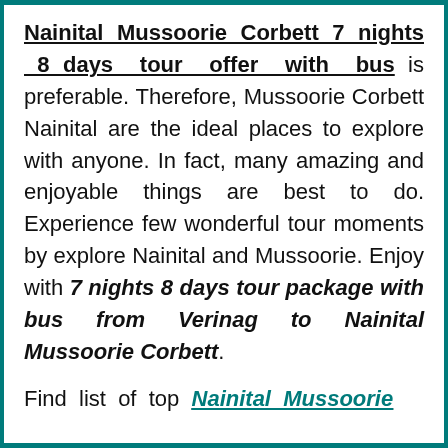Nainital Mussoorie Corbett 7 nights 8 days tour offer with bus is preferable. Therefore, Mussoorie Corbett Nainital are the ideal places to explore with anyone. In fact, many amazing and enjoyable things are best to do. Experience few wonderful tour moments by explore Nainital and Mussoorie. Enjoy with 7 nights 8 days tour package with bus from Verinag to Nainital Mussoorie Corbett.
Find list of top Nainital Mussoorie